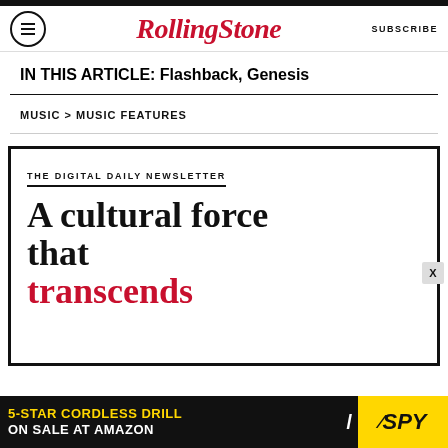Rolling Stone | SUBSCRIBE
IN THIS ARTICLE: Flashback, Genesis
MUSIC > MUSIC FEATURES
THE DIGITAL DAILY NEWSLETTER
A cultural force that transcends
[Figure (infographic): Advertisement banner: 5-STAR CORDLESS DRILL ON SALE AT AMAZON with SPY logo on yellow background]